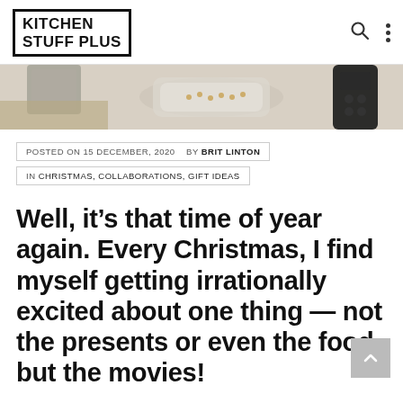KITCHEN STUFF PLUS
[Figure (photo): Partial view of kitchen items including what appears to be a jar with sugar/salt and a remote control on a light beige surface]
POSTED ON 15 DECEMBER, 2020  BY BRIT LINTON
IN CHRISTMAS, COLLABORATIONS, GIFT IDEAS
Well, it’s that time of year again. Every Christmas, I find myself getting irrationally excited about one thing — not the presents or even the food, but the movies!
You have to admit, Christmas movies are some of the best out there. Whether you’re a fan of the old